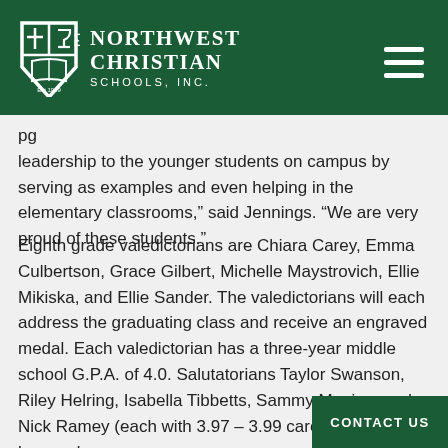Northwest Christian Schools, Inc.
pg leadership to the younger students on campus by serving as examples and even helping in the elementary classrooms,” said Jennings. “We are very proud of these students.”
Eighth grade valedictorians are Chiara Carey, Emma Culbertson, Grace Gilbert, Michelle Maystrovich, Ellie Mikiska, and Ellie Sander. The valedictorians will each address the graduating class and receive an engraved medal. Each valedictorian has a three-year middle school G.P.A. of 4.0. Salutatorians Taylor Swanson, Riley Helring, Isabella Tibbetts, Sammy Manina, and Nick Ramey (each with 3.97 – 3.99 career G.P.A.s) be honored.